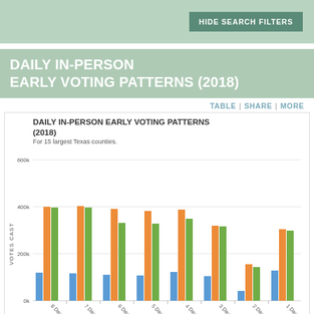HIDE SEARCH FILTERS
DAILY IN-PERSON EARLY VOTING PATTERNS (2018)
TABLE | SHARE | MORE
[Figure (grouped-bar-chart): DAILY IN-PERSON EARLY VOTING PATTERNS (2018)]